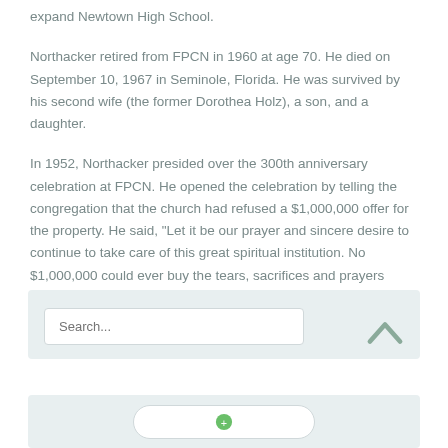expand Newtown High School.
Northacker retired from FPCN in 1960 at age 70. He died on September 10, 1967 in Seminole, Florida. He was survived by his second wife (the former Dorothea Holz), a son, and a daughter.
In 1952, Northacker presided over the 300th anniversary celebration at FPCN. He opened the celebration by telling the congregation that the church had refused a $1,000,000 offer for the property. He said, "Let it be our prayer and sincere desire to continue to take care of this great spiritual institution. No $1,000,000 could ever buy the tears, sacrifices and prayers made here."
[Figure (screenshot): Search widget with a text input field showing placeholder text 'Search...' on a light blue-grey background, with a chevron/arrow-up icon at bottom right]
[Figure (screenshot): Bottom widget area on a light blue-grey background with a pill-shaped button containing a green icon]